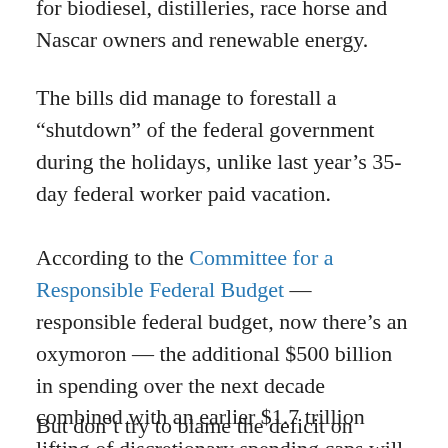for biodiesel, distilleries, race horse and Nascar owners and renewable energy.
The bills did manage to forestall a “shutdown” of the federal government during the holidays, unlike last year’s 35-day federal worker paid vacation.
According to the Committee for a Responsible Federal Budget — responsible federal budget, now there’s an oxymoron — the additional $500 billion in spending over the next decade combined with an earlier $1.7 trillion lifting of discretionary spending caps will add $2.2 trillion to the national debt in 10 years. This will increase the debt as a percentage of gross domestic product from 79 percent to 97 percent.
But don’t try to blame the deficit on President Trump’s tax cuts. The Wall Street Journal reports that the